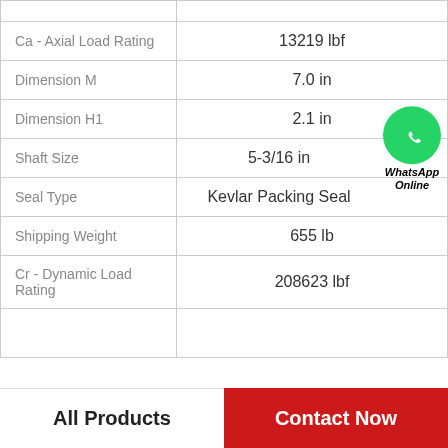| Property | Value |
| --- | --- |
| Ca - Axial Load Rating | 13219 lbf |
| Dimension M | 7.0 in |
| Dimension H1 | 2.1 in |
| Shaft Size | 5-3/16 in |
| Seal Type | Kevlar Packing Seal |
| Shipping Weight | 655 lb |
| Cr - Dynamic Load Rating | 208623 lbf |
|  |  |
All Products
Contact Now